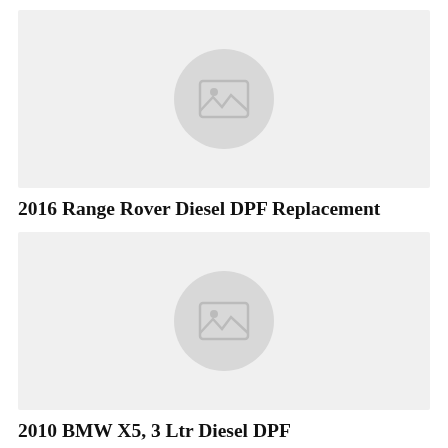[Figure (photo): Placeholder image thumbnail with mountain/landscape icon for 2016 Range Rover Diesel DPF Replacement article]
2016 Range Rover Diesel DPF Replacement
[Figure (photo): Placeholder image thumbnail with mountain/landscape icon for 2010 BMW X5, 3 Ltr Diesel DPF article]
2010 BMW X5, 3 Ltr Diesel DPF